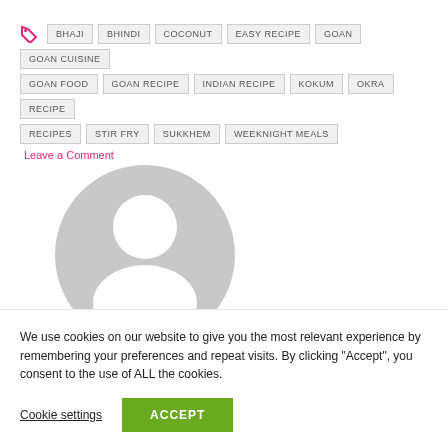BHAJI, BHINDI, COCONUT, EASY RECIPE, GOAN, GOAN CUISINE, GOAN FOOD, GOAN RECIPE, INDIAN RECIPE, KOKUM, OKRA, RECIPE, RECIPES, STIR FRY, SUKKHEM, WEEKNIGHT MEALS
Leave a Comment
[Figure (illustration): Default user avatar placeholder — grey circle with a white silhouette of a person's head and shoulders]
We use cookies on our website to give you the most relevant experience by remembering your preferences and repeat visits. By clicking “Accept”, you consent to the use of ALL the cookies.
Cookie settings
ACCEPT